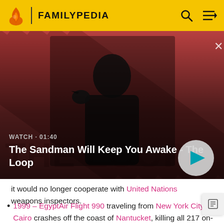FAMILYPEDIA
[Figure (screenshot): Video thumbnail for 'The Sandman Will Keep You Awake - The Loop' with a gothic figure and a crow on a red striped background. Shows WATCH · 01:40 label and a play button.]
it would no longer cooperate with United Nations weapons inspectors.
1999 – EgyptAir Flight 990 traveling from New York City to Cairo crashes off the coast of Nantucket, killing all 217 on-board.